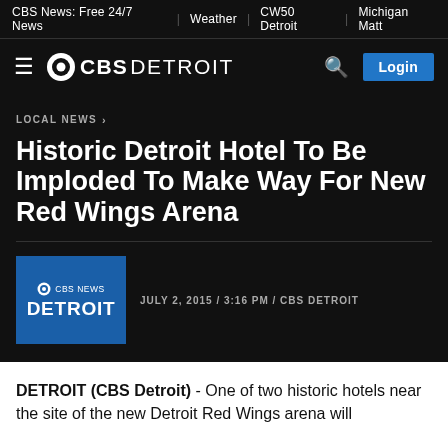CBS News: Free 24/7 News | Weather | CW50 Detroit | Michigan Matt
[Figure (logo): CBS Detroit logo with hamburger menu, CBS eye logo, search icon, and Login button]
LOCAL NEWS ›
Historic Detroit Hotel To Be Imploded To Make Way For New Red Wings Arena
JULY 2, 2015 / 3:16 PM / CBS DETROIT
DETROIT (CBS Detroit) - One of two historic hotels near the site of the new Detroit Red Wings arena will